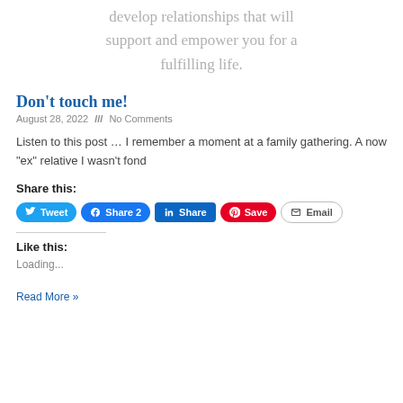develop relationships that will support and empower you for a fulfilling life.
Don’t touch me!
August 28, 2022 /// No Comments
Listen to this post … I remember a moment at a family gathering. A now “ex” relative I wasn’t fond
Share this:
Tweet | Share 2 | Share | Save | Email
Like this:
Loading...
Read More »